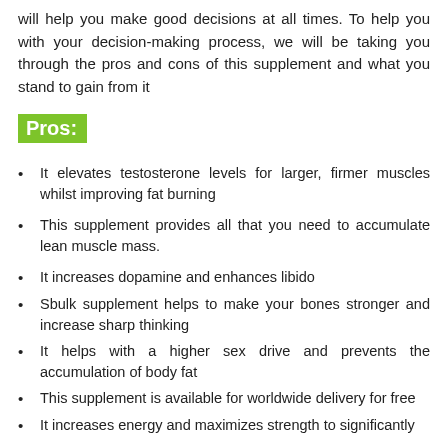will help you make good decisions at all times. To help you with your decision-making process, we will be taking you through the pros and cons of this supplement and what you stand to gain from it
Pros:
It elevates testosterone levels for larger, firmer muscles whilst improving fat burning
This supplement provides all that you need to accumulate lean muscle mass.
It increases dopamine and enhances libido
Sbulk supplement helps to make your bones stronger and increase sharp thinking
It helps with a higher sex drive and prevents the accumulation of body fat
This supplement is available for worldwide delivery for free
It increases energy and maximizes strength to significantly